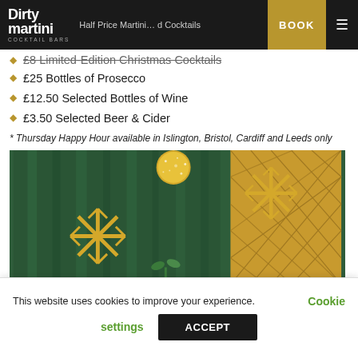Dirty Martini Cocktail Bars — navigation bar with BOOK button
£8 Limited-Edition Christmas Cocktails
£25 Bottles of Prosecco
£12.50 Selected Bottles of Wine
£3.50 Selected Beer & Cider
* Thursday Happy Hour available in Islington, Bristol, Cardiff and Leeds only
[Figure (photo): Christmas decorations photo: gold glitter snowflakes and ornament ball against green satin and gold diamond-pattern upholstered background]
This website uses cookies to improve your experience.
Cookie settings  ACCEPT